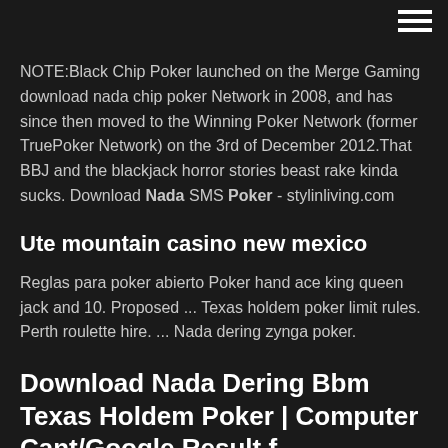hamburger menu icon
NOTE:Black Chip Poker launched on the Merge Gaming download nada chip poker Network in 2008, and has since then moved to the Winning Poker Network (former TruePoker Network) on the 3rd of December 2012.That BBJ and the blackjack horror stories beast rake kinda sucks. Download Nada SMS Poker - stylinliving.com
Ute mountain casino new mexico
Reglas para poker abierto Poker hand ace king queen jack and 10. Proposed ... Texas holdem poker limit rules. Perth roulette hire. ... Nada dering zynga poker.
Download Nada Dering Bbm Texas Holdem Poker | Computer Cant/Google Result f...